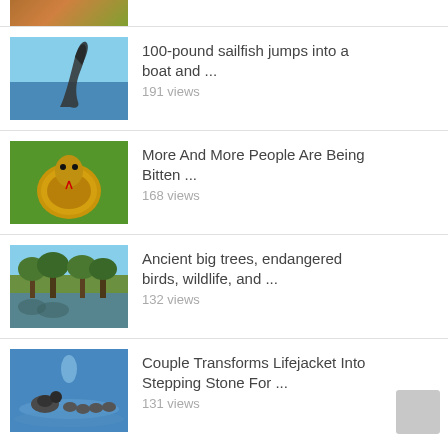[Figure (photo): Partial top image showing orange flowers/plants]
[Figure (photo): Sailfish jumping out of the ocean water]
100-pound sailfish jumps into a boat and ...
191 views
[Figure (photo): King cobra snake with hood spread, green background]
More And More People Are Being Bitten ...
168 views
[Figure (photo): Landscape with large trees, water reflection, blue sky]
Ancient big trees, endangered birds, wildlife, and ...
132 views
[Figure (photo): Duck and ducklings swimming in blue water]
Couple Transforms Lifejacket Into Stepping Stone For ...
131 views